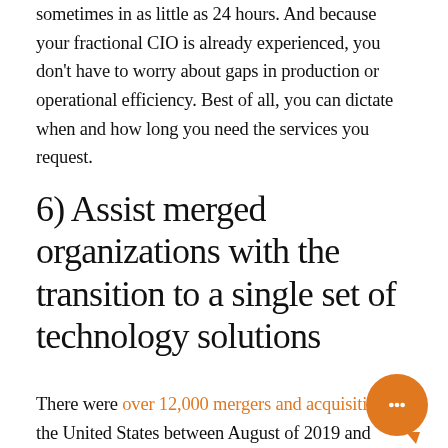sometimes in as little as 24 hours. And because your fractional CIO is already experienced, you don't have to worry about gaps in production or operational efficiency. Best of all, you can dictate when and how long you need the services you request.
6) Assist merged organizations with the transition to a single set of technology solutions
There were over 12,000 mergers and acquisitions in the United States between August of 2019 and August of 2020. While some of these mergers unfolded smoothly from a technology standpoint, other organizations found themselves grappling with a host of IT challenges